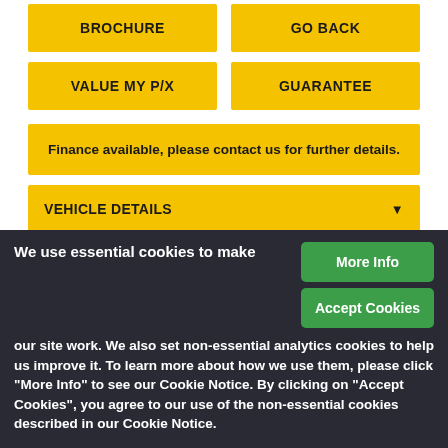BROCHURE
GO BACK
VALUE MY P/X
GUARANTEE
Finance available, please contact us for further details.
VEHICLE DETAILS
DEALER INFO
We use essential cookies to make our site work. We also set non-essential analytics cookies to help us improve it. To learn more about how we use them, please click "More Info" to see our Cookie Notice. By clicking on "Accept Cookies", you agree to our use of the non-essential cookies described in our Cookie Notice.
More Info
Accept Cookies